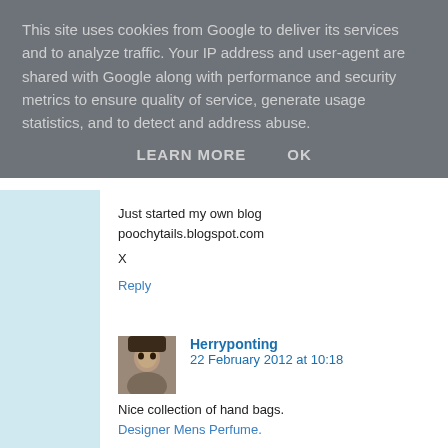This site uses cookies from Google to deliver its services and to analyze traffic. Your IP address and user-agent are shared with Google along with performance and security metrics to ensure quality of service, generate usage statistics, and to detect and address abuse.
LEARN MORE   OK
Just started my own blog
poochytails.blogspot.com

X
Reply
Herryponting  22 February 2012 at 10:18
Nice collection of hand bags.
Designer Mens Perfume.
Reply